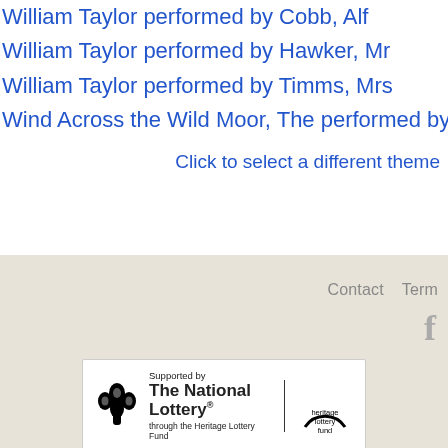William Taylor performed by Cobb, Alf
William Taylor performed by Hawker, Mr
William Taylor performed by Timms, Mrs
Wind Across the Wild Moor, The performed by Grubb, Ge
Click to select a different theme
Contact  Term
[Figure (logo): Supported by The National Lottery through the Heritage Lottery Fund logo, with Heritage Lottery Fund semicircle logo on the right]